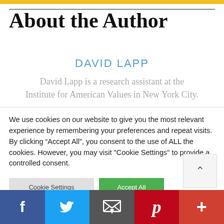About the Author
DAVID LAPP
David Lapp is a research assistant at the Institute for American Values in New York City.
We use cookies on our website to give you the most relevant experience by remembering your preferences and repeat visits. By clicking “Accept All”, you consent to the use of ALL the cookies. However, you may visit "Cookie Settings" to provide a controlled consent.
Facebook | Twitter | Email | Pinterest | More